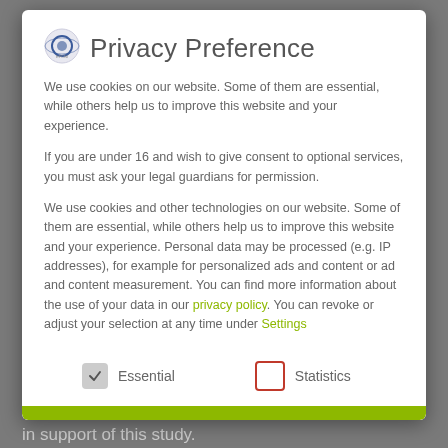Privacy Preference
We use cookies on our website. Some of them are essential, while others help us to improve this website and your experience.
If you are under 16 and wish to give consent to optional services, you must ask your legal guardians for permission.
We use cookies and other technologies on our website. Some of them are essential, while others help us to improve this website and your experience. Personal data may be processed (e.g. IP addresses), for example for personalized ads and content or ad and content measurement. You can find more information about the use of your data in our privacy policy. You can revoke or adjust your selection at any time under Settings
Essential
Statistics
societies COINN, ESPR, NIDCAP, and UENPS. EFCNI received an earmarked donation by Novartis Pharma AG in support of this study.